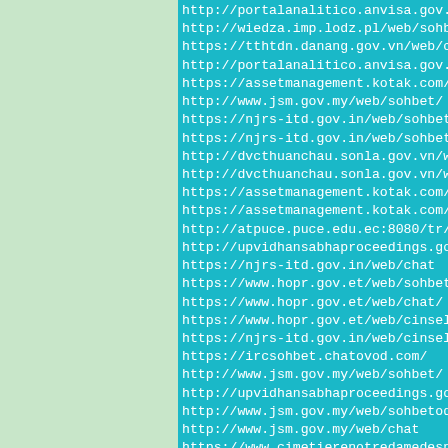http://portalanalitico.anvisa.gov.br/en/web/s...
http://wiedza.imp.lodz.pl/web/sohbet/
https://tthtdn.danang.gov.vn/web/chat
http://portalanalitico.anvisa.gov.br/en_US/we...
https://assetmanagement.kotak.com/web/cinsels...
http://www.jsm.gov.my/web/sohbet/
https://njrs-itd.gov.in/web/sohbetodalari...
https://njrs-itd.gov.in/web/sohbet
http://dvcthuanchau.sonla.gov.vn/web/sohbet/s...
http://dvcthuanchau.sonla.gov.vn/web/sohbetod...
https://assetmanagement.kotak.com/web/sohbeto...
https://assetmanagement.kotak.com/web/chat/
http://atpuce.puce.edu.ec:8080/tr/web/chat/
http://upvidhansabhaproceedings.gov.in/web/so...
https://njrs-itd.gov.in/web/chat
https://www.hopr.gov.et/web/sohbetodalari/...
https://www.hopr.gov.et/web/chat/
https://www.hopr.gov.et/web/cinselsohbet/
https://njrs-itd.gov.in/web/cinselsohbet/
https://ircsohbet.chatovod.com/
http://www.jsm.gov.my/web/sohbet/
http://upvidhansabhaproceedings.gov.in/web/so...
http://www.jsm.gov.my/web/sohbetodalari/
http://www.jsm.gov.my/web/chat
https://www.cimetierenotredamedesneiges.ca/e...
http://archive.wikiwix.com/cache/index2.php?u...
https://sohbet.setmore.com/